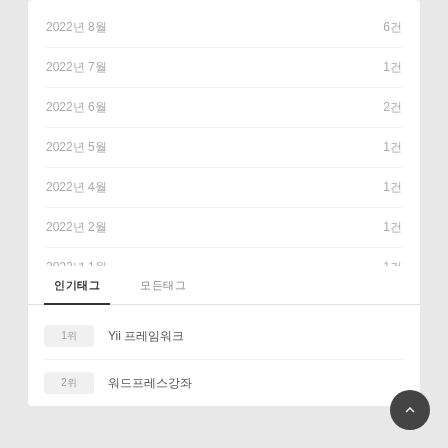2022년 8월 — 6건
2022년 7월 — 1건
2022년 6월 — 2건
2022년 5월 — 1건
2022년 4월 — 1건
2022년 2월 — 1건
2022년 1월 — 1건
2021년 11월 — 3건
더보기 전체
인기태그 모든태그
1위  Yii 프레임워크
2위  워드프레스강좌